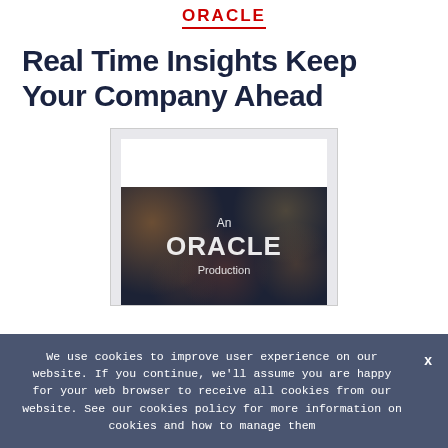ORACLE
Real Time Insights Keep Your Company Ahead
[Figure (screenshot): Video thumbnail showing 'An ORACLE Production' text overlaid on a dark bokeh city lights background, displayed within a light-grey framed video player widget with white top area.]
We use cookies to improve user experience on our website. If you continue, we'll assume you are happy for your web browser to receive all cookies from our website. See our cookies policy for more information on cookies and how to manage them